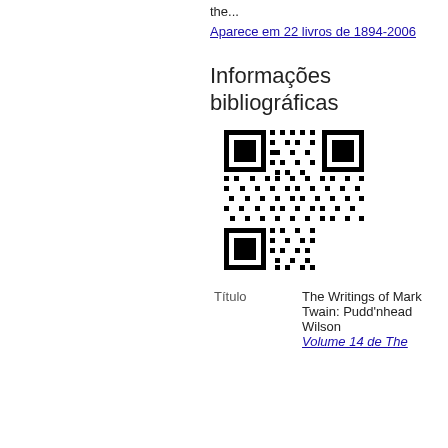the...
Aparece em 22 livros de 1894-2006
Informações bibliográficas
[Figure (other): QR code image]
| Título | The Writings of Mark Twain: Pudd'nhead Wilson Volume 14 de The... |